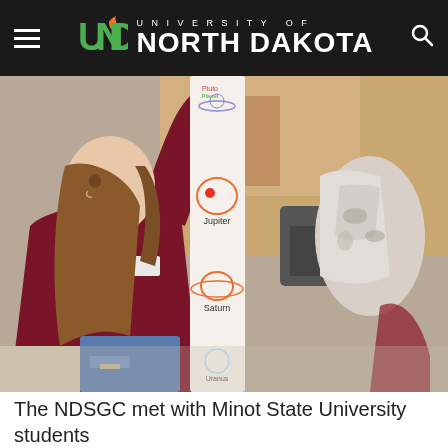University of North Dakota
[Figure (photo): A female student holding up a long paper strip showing hand-drawn planets of the solar system including Jupiter and Saturn, in a classroom setting.]
The NDSGC met with Minot State University students